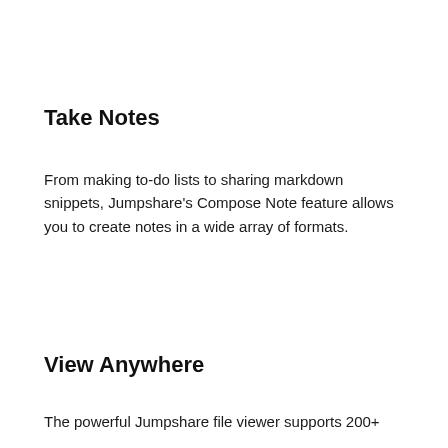Take Notes
From making to-do lists to sharing markdown snippets, Jumpshare's Compose Note feature allows you to create notes in a wide array of formats.
View Anywhere
The powerful Jumpshare file viewer supports 200+